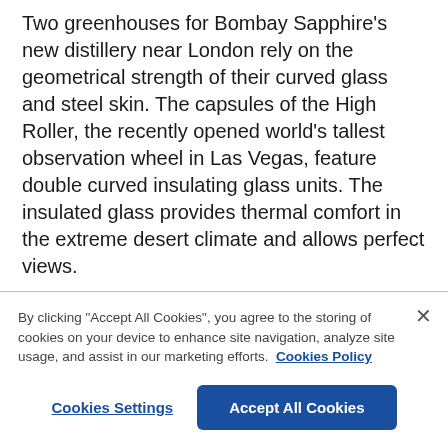Two greenhouses for Bombay Sapphire's new distillery near London rely on the geometrical strength of their curved glass and steel skin. The capsules of the High Roller, the recently opened world's tallest observation wheel in Las Vegas, feature double curved insulating glass units. The insulated glass provides thermal comfort in the extreme desert climate and allows perfect views.
Gwenaël Nicolas was the designer for a new feature lift for Louis Vuitton in the Selfridges Store in London. The shaft for the revolving lift capsule
By clicking "Accept All Cookies", you agree to the storing of cookies on your device to enhance site navigation, analyze site usage, and assist in our marketing efforts. Cookies Policy
Cookies Settings
Accept All Cookies